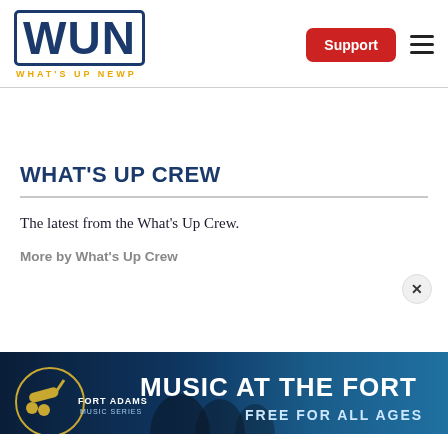[Figure (logo): WUN - What's Up Newp website logo with blue block letters and yellow subtitle]
[Figure (other): Support button (red rounded rectangle) and hamburger menu icon in header]
WHAT'S UP CREW
The latest from the What's Up Crew.
More by What's Up Crew
[Figure (other): Fort Adams Music Series advertisement banner - MUSIC AT THE FORT FREE FOR ALL AGES with cannon logo and silhouetted crowd against blue sky]